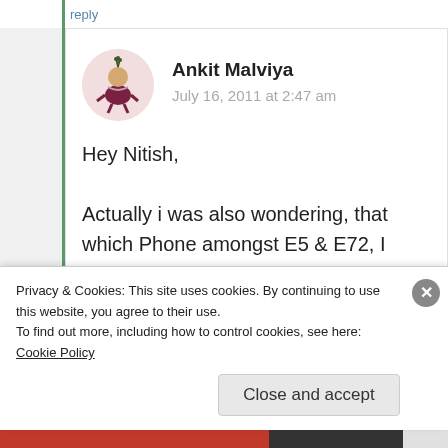reply
[Figure (illustration): Avatar image of Ankit Malviya — a stylized cartoon character on a pink circular background]
Ankit Malviya
July 16, 2011 at 2:47 am
Hey Nitish,

Actually i was also wondering, that which Phone amongst E5 & E72, I
Privacy & Cookies: This site uses cookies. By continuing to use this website, you agree to their use.
To find out more, including how to control cookies, see here: Cookie Policy
Close and accept